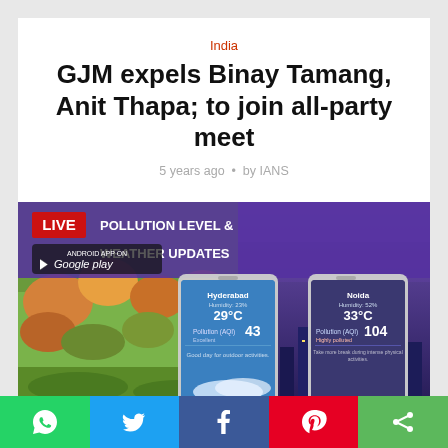India
GJM expels Binay Tamang, Anit Thapa; to join all-party meet
5 years ago • by IANS
[Figure (screenshot): Mobile app advertisement showing LIVE Pollution Level & Weather Updates on Google Play. Two phone screens showing weather data for Hyderabad (29°C, Pollution AQI 43, Excellent) and Noida (33°C, Pollution AQI 104, Highly polluted).]
Social share buttons: WhatsApp, Twitter, Facebook, Pinterest, Share